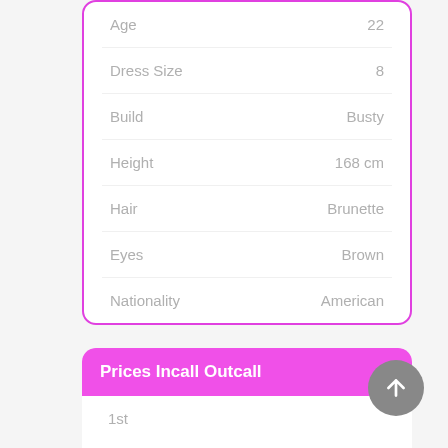| Attribute | Value |
| --- | --- |
| Age | 22 |
| Dress Size | 8 |
| Build | Busty |
| Height | 168 cm |
| Hair | Brunette |
| Eyes | Brown |
| Nationality | American |
Prices Incall Outcall
|  |  |
| --- | --- |
| 1st |  |
| Hour | £80 |